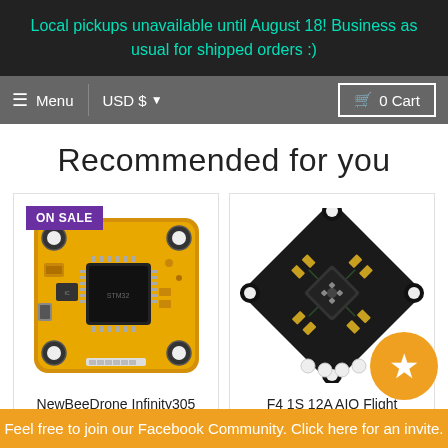Local pickups unavailable until August 18! Business as usual for shipped orders :)
Menu  USD $  0 Cart
Recommended for you
[Figure (photo): Yellow flight controller PCB (NewBeeDrone Infinity305 F4 Flight Controller) with ON SALE badge]
NewBeeDrone Infinity305 F4 Flight Controller
[Figure (photo): Black AIO flight controller PCB (F4 1S 12A AIO Flight Controller) shown rotated 45 degrees]
F4 1S 12A AIO Flight Controller
Feel free to join our Facebook Community. Click here for an invite.